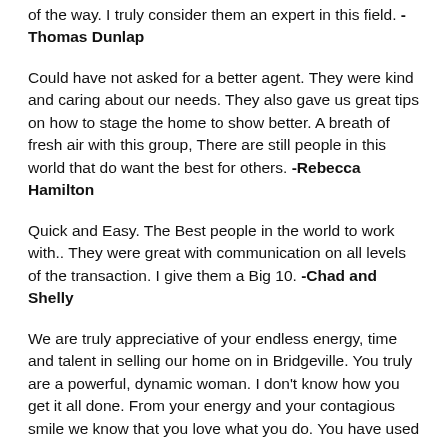of the way. I truly consider them an expert in this field. -Thomas Dunlap
Could have not asked for a better agent. They were kind and caring about our needs. They also gave us great tips on how to stage the home to show better. A breath of fresh air with this group, There are still people in this world that do want the best for others. -Rebecca Hamilton
Quick and Easy. The Best people in the world to work with.. They were great with communication on all levels of the transaction. I give them a Big 10. -Chad and Shelly
We are truly appreciative of your endless energy, time and talent in selling our home on in Bridgeville. You truly are a powerful, dynamic woman. I don't know how you get it all done. From your energy and your contagious smile we know that you love what you do. You have used your